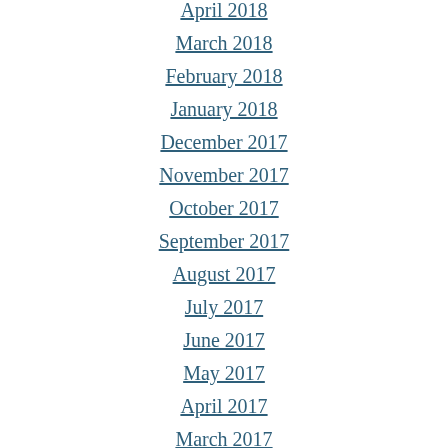April 2018
March 2018
February 2018
January 2018
December 2017
November 2017
October 2017
September 2017
August 2017
July 2017
June 2017
May 2017
April 2017
March 2017
February 2017
January 2017
December 2016
November 2016
October 2016
September 2016